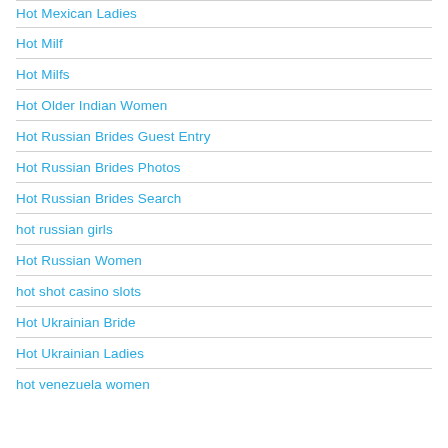Hot Mexican Ladies
Hot Milf
Hot Milfs
Hot Older Indian Women
Hot Russian Brides Guest Entry
Hot Russian Brides Photos
Hot Russian Brides Search
hot russian girls
Hot Russian Women
hot shot casino slots
Hot Ukrainian Bride
Hot Ukrainian Ladies
hot venezuela women